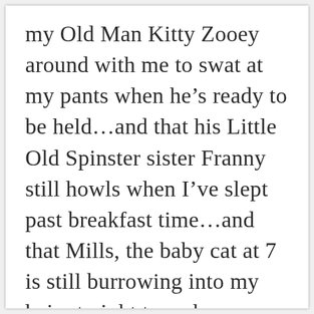my Old Man Kitty Zooey around with me to swat at my pants when he's ready to be held…and that his Little Old Spinster sister Franny still howls when I've slept past breakfast time…and that Mills, the baby cat at 7 is still burrowing into my hair at night to wake me up with a purr that sounds like a freight train…